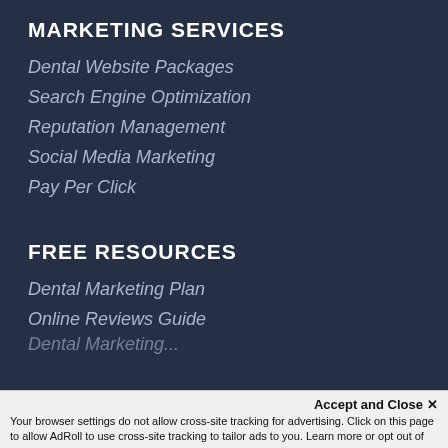MARKETING SERVICES
Dental Website Packages
Search Engine Optimization
Reputation Management
Social Media Marketing
Pay Per Click
FREE RESOURCES
Dental Marketing Plan
Online Reviews Guide
Accept and Close ✕
Your browser settings do not allow cross-site tracking for advertising. Click on this page to allow AdRoll to use cross-site tracking to tailor ads to you. Learn more or opt out of this AdRoll tracking by clicking here. This message only appears once.